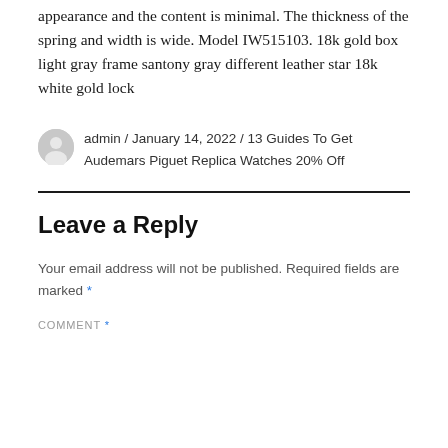appearance and the content is minimal. The thickness of the spring and width is wide. Model IW515103. 18k gold box light gray frame santony gray different leather star 18k white gold lock
admin / January 14, 2022 / 13 Guides To Get Audemars Piguet Replica Watches 20% Off
Leave a Reply
Your email address will not be published. Required fields are marked *
COMMENT *